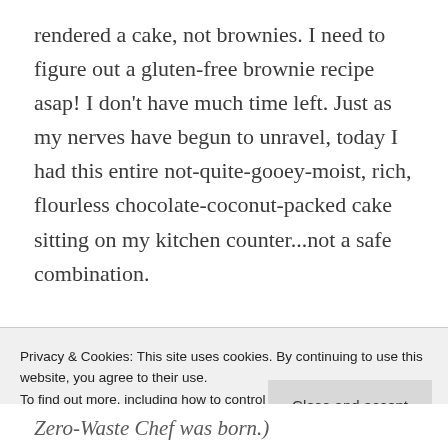rendered a cake, not brownies. I need to figure out a gluten-free brownie recipe asap! I don't have much time left. Just as my nerves have begun to unravel, today I had this entire not-quite-gooey-moist, rich, flourless chocolate-coconut-packed cake sitting on my kitchen counter...not a safe combination.

With her permission, I stole the recipe from my daughter. MK She made it for her children. The Zero-Waste Chef was born.)
Privacy & Cookies: This site uses cookies. By continuing to use this website, you agree to their use.
To find out more, including how to control cookies, see here: Cookie Policy